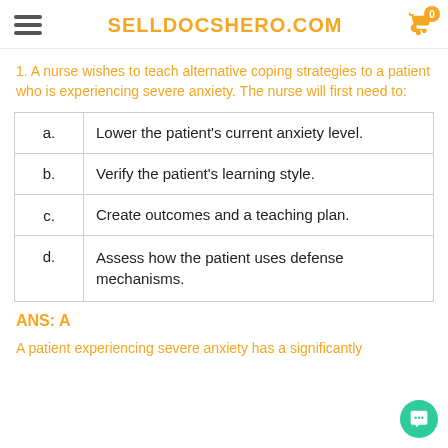SELLDOCSHERO.COM
1. A nurse wishes to teach alternative coping strategies to a patient who is experiencing severe anxiety. The nurse will first need to:
| a. | Lower the patient's current anxiety level. |
| b. | Verify the patient's learning style. |
| c. | Create outcomes and a teaching plan. |
| d. | Assess how the patient uses defense mechanisms. |
ANS: A
A patient experiencing severe anxiety has a significantly